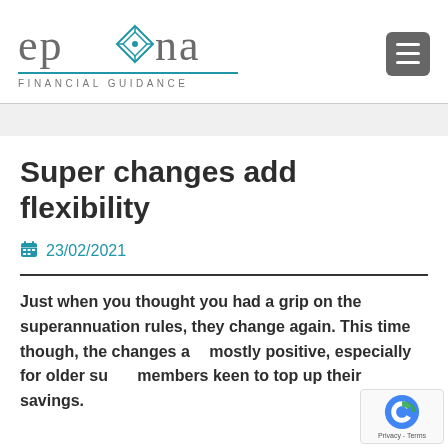epona FINANCIAL GUIDANCE
Super changes add flexibility
23/02/2021
Just when you thought you had a grip on the superannuation rules, they change again. This time though, the changes are mostly positive, especially for older super members keen to top up their savings.